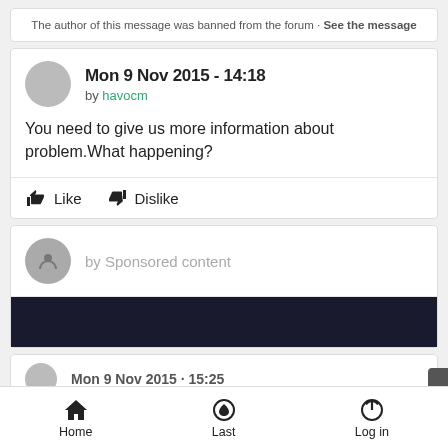The author of this message was banned from the forum · See the message
Mon 9 Nov 2015 - 14:18 by havocm
You need to give us more information about problem.What happening?
Like  Dislike
by Sponsored content
Mon 9 Nov 2015 - 15:25
Home  Last  Log in